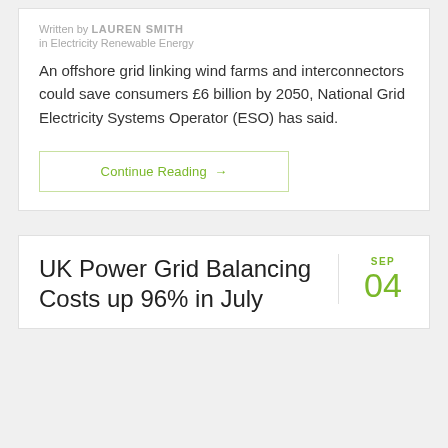Written by LAUREN SMITH
in Electricity Renewable Energy
An offshore grid linking wind farms and interconnectors could save consumers £6 billion by 2050, National Grid Electricity Systems Operator (ESO) has said.
Continue Reading →
UK Power Grid Balancing Costs up 96% in July
SEP
04